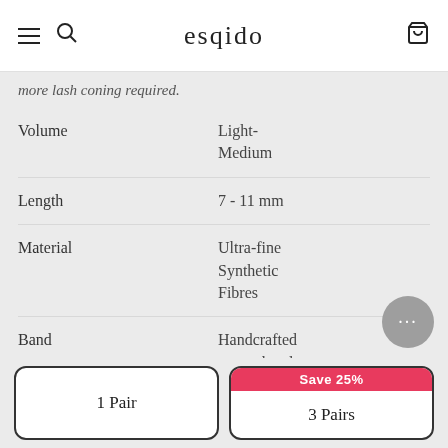esqido
more lash coning required.
|  |  |
| --- | --- |
| Volume | Light-Medium |
| Length | 7 - 11 mm |
| Material | Ultra-fine Synthetic Fibres |
| Band | Handcrafted cotton band |
| Wear Period | Up to 20 wears with proper care |
1 Pair
Save 25%
3 Pairs